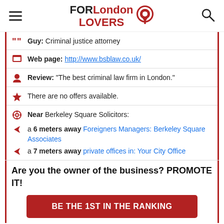FOR London LOVERS
Guy: Criminal justice attorney
Web page: http://www.bsblaw.co.uk/
Review: "The best criminal law firm in London."
There are no offers available.
Near Berkeley Square Solicitors:
a 6 meters away Foreigners Managers: Berkeley Square Associates
a 7 meters away private offices in: Your City Office
Are you the owner of the business? PROMOTE IT!
BE THE 1ST IN THE RANKING